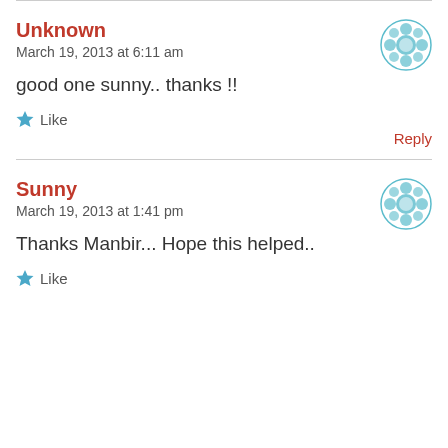Unknown
March 19, 2013 at 6:11 am
good one sunny.. thanks !!
Like
Reply
Sunny
March 19, 2013 at 1:41 pm
Thanks Manbir... Hope this helped..
Like